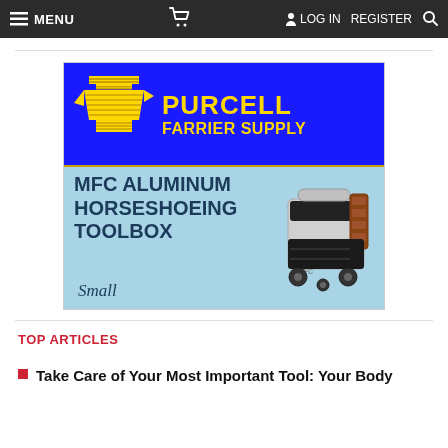MENU  [cart]  LOG IN  REGISTER  [search]
[Figure (logo): Purcell Farrier Supply advertisement banner featuring an anvil logo, the text 'PURCELL FARRIER SUPPLY' in yellow on blue background, and 'MFC ALUMINUM HORSESHOEING TOOLBOX Small' on light blue background with a photo of a metal toolbox.]
TOP ARTICLES
Take Care of Your Most Important Tool: Your Body